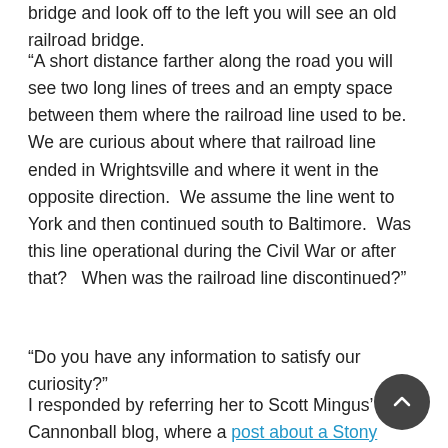bridge and look off to the left you will see an old railroad bridge.
“A short distance farther along the road you will see two long lines of trees and an empty space between them where the railroad line used to be. We are curious about where that railroad line ended in Wrightsville and where it went in the opposite direction. We assume the line went to York and then continued south to Baltimore. Was this line operational during the Civil War or after that? When was the railroad line discontinued?”
“Do you have any information to satisfy our curiosity?”
I responded by referring her to Scott Mingus’ Cannonball blog, where a post about a Stony Brook woman tells a lot about the railroad that ran from York